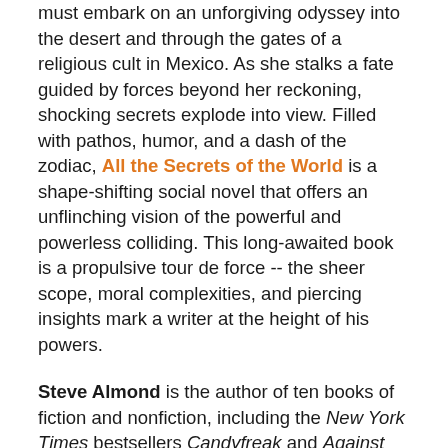must embark on an unforgiving odyssey into the desert and through the gates of a religious cult in Mexico. As she stalks a fate guided by forces beyond her reckoning, shocking secrets explode into view. Filled with pathos, humor, and a dash of the zodiac, All the Secrets of the World is a shape-shifting social novel that offers an unflinching vision of the powerful and powerless colliding. This long-awaited book is a propulsive tour de force -- the sheer scope, moral complexities, and piercing insights mark a writer at the height of his powers.
Steve Almond is the author of ten books of fiction and nonfiction, including the New York Times bestsellers Candyfreak and Against Football. He teaches Creative Writing at the Neiman Fellowship at Harvard and Wesleyan, as well as Hugo House, Grub Street, and numerous literary conferences. His essays and reviews have been widely published in The New York Times Magazine, The New York Times, The Boston Globe